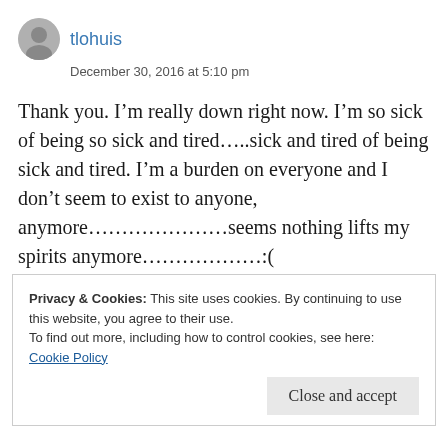tlohuis
December 30, 2016 at 5:10 pm
Thank you. I’m really down right now. I’m so sick of being so sick and tired…..sick and tired of being sick and tired. I’m a burden on everyone and I don’t seem to exist to anyone, anymore…………………seems nothing lifts my spirits anymore………………:(
Like
Privacy & Cookies: This site uses cookies. By continuing to use this website, you agree to their use.
To find out more, including how to control cookies, see here:
Cookie Policy
Close and accept